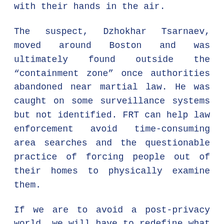with their hands in the air.
The suspect, Dzhokhar Tsarnaev, moved around Boston and was ultimately found outside the "containment zone" once authorities abandoned near martial law. He was caught on some surveillance systems but not identified. FRT can help law enforcement avoid time-consuming area searches and the questionable practice of forcing people out of their homes to physically examine them.
If we are to avoid a post-privacy world, we will have to redefine what we are trying to protect and reconceive how we hope to protect it. In my view, the greatest threat of biometric technologies is to democratic values. Authoritarian nations like China have made huge investments into FRT precisely because they know that the threat of recognition in public deters citizens from associating or interacting with one another or dissenting in any way about the